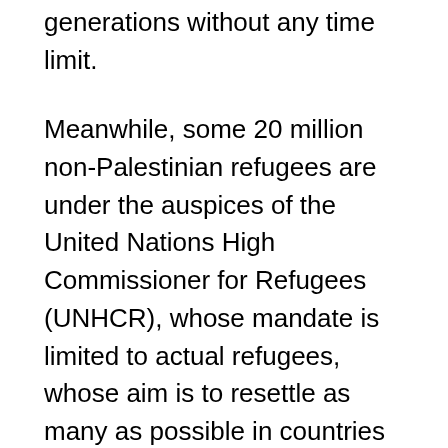generations without any time limit.
Meanwhile, some 20 million non-Palestinian refugees are under the auspices of the United Nations High Commissioner for Refugees (UNHCR), whose mandate is limited to actual refugees, whose aim is to resettle as many as possible in countries where they can find safety and opportunity, and whose workforce is smaller than Unrwa's. This triggers the question of why Unrwa operates on its own, rather than under the UNHCR structure, and how long its open-ended mandate will continue.
Finally, it should be noted that there were also